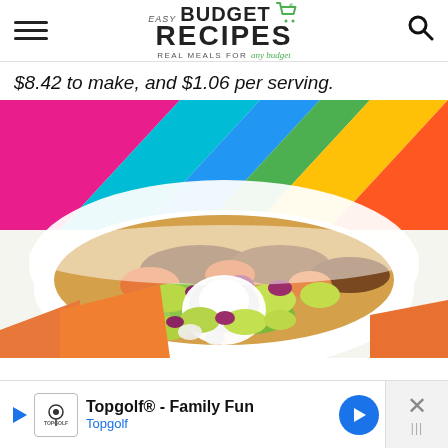Easy Budget Recipes - Real Meals For Any Budget
$8.42 to make, and $1.06 per serving.
[Figure (photo): A white bowl filled with taco/nacho salad toppings: avocado chunks, red onion, lettuce, tomato, sour cream, and ground meat, set against a colorful striped background of pink, teal, blue, green, and orange.]
[Figure (other): Advertisement banner for Topgolf - Family Fun, Topgolf. Features play button, Topgolf logo, navigation icon, and a close button with X.]